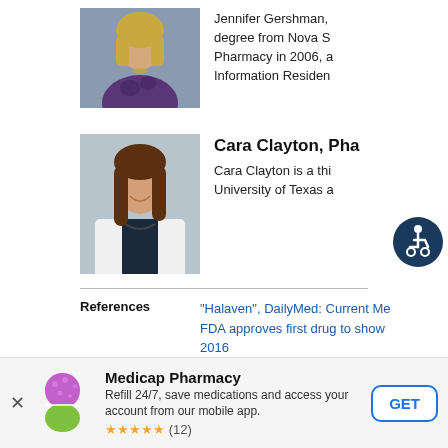[Figure (photo): Professional headshot of Jennifer Gershman, a woman with blonde hair wearing a patterned top]
Jennifer Gershman, degree from Nova S Pharmacy in 2006, a Information Residen
[Figure (photo): Professional headshot of Cara Clayton, a woman with long brown hair wearing a white lab coat]
Cara Clayton, Pha
Cara Clayton is a thi University of Texas a
[Figure (other): Accessibility icon - blue circle with white wheelchair user symbol]
References
"Halaven", DailyMed: Current Me FDA approves first drug to show 2016
Medicap Pharmacy
Refill 24/7, save medications and access your account from our mobile app.
★★★★★ (12)